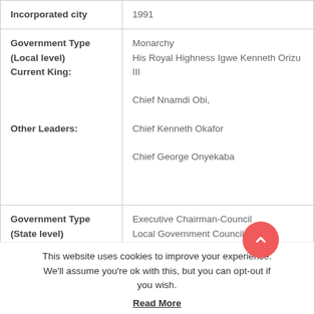| Category | Details |
| --- | --- |
| Incorporated city | 1991 |
| Government Type (Local level)
Current King:

Other Leaders: | Monarchy
His Royal Highness Igwe Kenneth Orizu III

Chief Nnamdi Obi,

Chief Kenneth Okafor

Chief George Onyekaba |
| Government Type (State level) | Executive Chairman-Council
Local Government Council |
This website uses cookies to improve your experience. We'll assume you're ok with this, but you can opt-out if you wish.
Read More